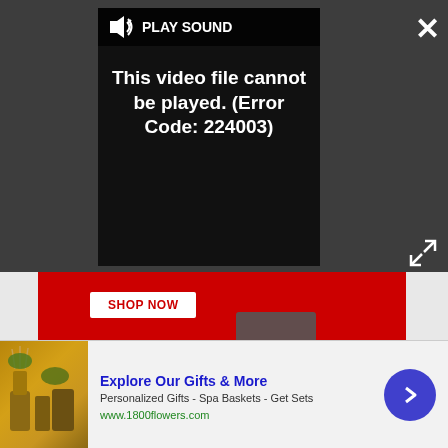[Figure (screenshot): Video player overlay on dark gray background showing a 'PLAY SOUND' button bar and error message 'This video file cannot be played. (Error Code: 224003)' in white text on black. An X close button is in top right and an expand icon in lower right.]
[Figure (photo): MSI laptop advertisement banner with red background showing 'SHOP NOW' button and multiple laptops with school supplies. Hash marks visible on right side.]
TODAY'S BEST DEALS
Check Amazon
[Figure (screenshot): Bottom advertisement bar from 1800flowers.com showing gift basket products image, headline 'Explore Our Gifts & More', subtitle 'Personalized Gifts - Spa Baskets - Get Sets', URL 'www.1800flowers.com', close button, and blue arrow button.]